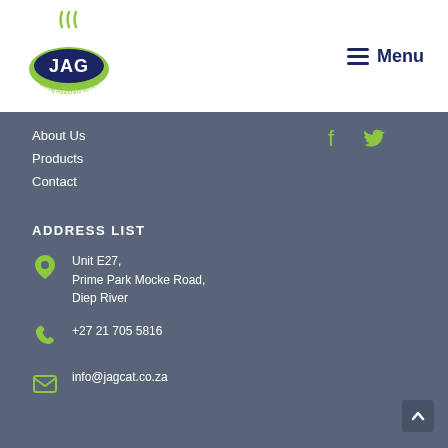[Figure (logo): JAG Catering Equipment Services logo - green oval with steam and dark blue text]
Menu
About Us
Products
Contact
[Figure (other): Facebook icon (green)]
[Figure (other): Twitter icon (green)]
ADDRESS LIST
Unit E27,
Prime Park Mocke Road,
Diep River
+27 21 705 5816
info@jagcat.co.za